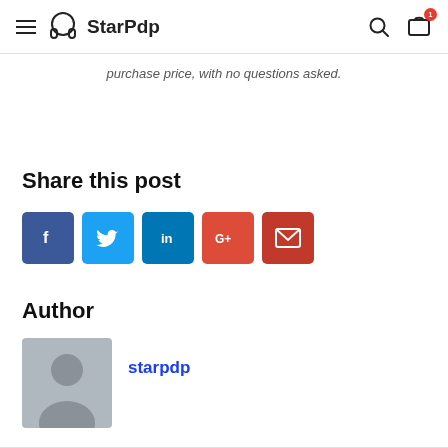StarPdp
purchase price, with no questions asked.
Share this post
[Figure (infographic): Social share buttons: Facebook (blue), Twitter (light blue), LinkedIn (dark blue), Google+ (orange-red), Email (red)]
Author
[Figure (photo): Default grey avatar placeholder image with silhouette of a person]
starpdp